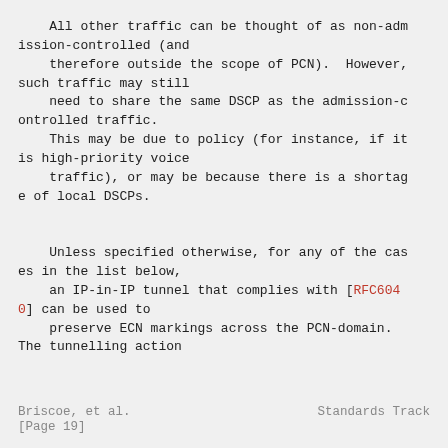All other traffic can be thought of as non-admission-controlled (and
    therefore outside the scope of PCN).  However, such traffic may still
    need to share the same DSCP as the admission-controlled traffic.
    This may be due to policy (for instance, if it is high-priority voice
    traffic), or may be because there is a shortage of local DSCPs.

    Unless specified otherwise, for any of the cases in the list below,
    an IP-in-IP tunnel that complies with [RFC6040] can be used to
    preserve ECN markings across the PCN-domain. The tunnelling action
Briscoe, et al.                Standards Track
[Page 19]